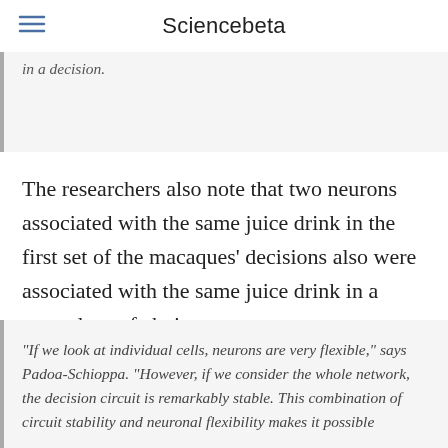Sciencebeta
in a decision.
The researchers also note that two neurons associated with the same juice drink in the first set of the macaques' decisions also were associated with the same juice drink in a second set of choices.
“If we look at individual cells, neurons are very flexible,” says Padoa-Schioppa. “However, if we consider the whole network, the decision circuit is remarkably stable. This combination of circuit stability and neuronal flexibility makes it possible